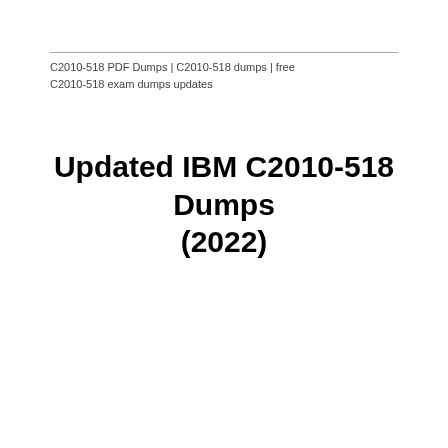C2010-518 PDF Dumps | C2010-518 dumps | free C2010-518 exam dumps updates
Updated IBM C2010-518 Dumps (2022)